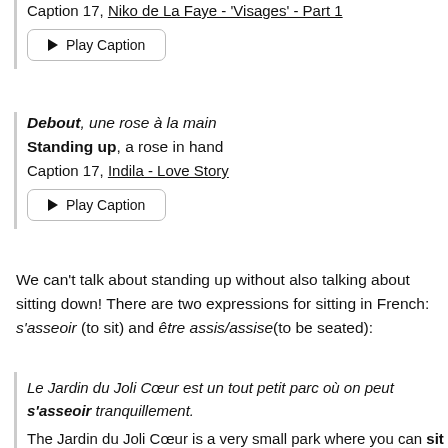Caption 17, Niko de La Faye - 'Visages' - Part 1
▶ Play Caption
Debout, une rose à la main
Standing up, a rose in hand
Caption 17, Indila - Love Story
▶ Play Caption
We can't talk about standing up without also talking about sitting down! There are two expressions for sitting in French: s'asseoir (to sit) and être assis/assise(to be seated):
Le Jardin du Joli Cœur est un tout petit parc où on peut s'asseoir tranquillement.
The Jardin du Joli Cœur is a very small park where you can sit quietly.